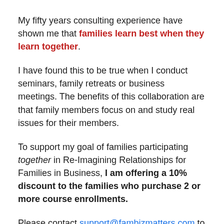My fifty years consulting experience have shown me that families learn best when they learn together.
I have found this to be true when I conduct seminars, family retreats or business meetings. The benefits of this collaboration are that family members focus on and study real issues for their members.
To support my goal of families participating together in Re-Imagining Relationships for Families in Business, I am offering a 10% discount to the families who purchase 2 or more course enrollments.
Please contact support@fambizmatters.com to request your multi-family-member discount code.